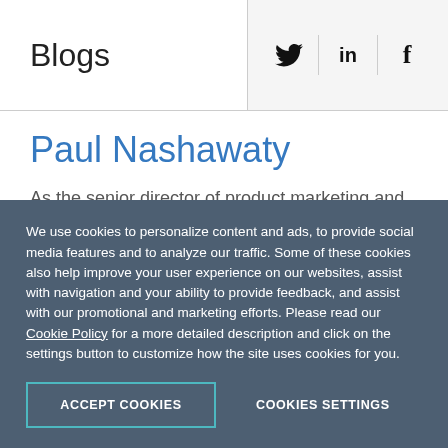Blogs
Paul Nashawaty
As the senior director of product marketing and strategy for the Progress solutions and audience marketing team, Paul Nashawaty keeps his eyes
We use cookies to personalize content and ads, to provide social media features and to analyze our traffic. Some of these cookies also help improve your user experience on our websites, assist with navigation and your ability to provide feedback, and assist with our promotional and marketing efforts. Please read our Cookie Policy for a more detailed description and click on the settings button to customize how the site uses cookies for you.
ACCEPT COOKIES
COOKIES SETTINGS